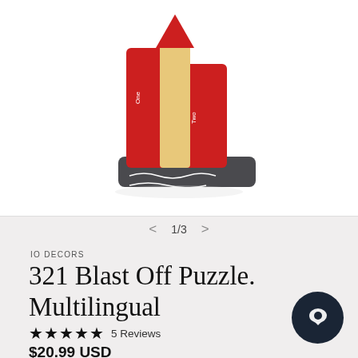[Figure (photo): Product photo showing a red rocket-shaped multilingual countdown puzzle on a dark grey base, with number pieces labeled One/Two/Three etc. in multiple languages, against a white background.]
1/3
IO DECORS
321 Blast Off Puzzle. Multilingual
★★★★★ 5 Reviews
$20.99 USD
Shipping calculated at checkout.
Quantity